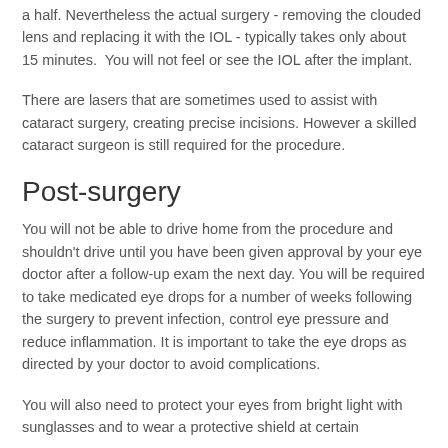a half. Nevertheless the actual surgery - removing the clouded lens and replacing it with the IOL - typically takes only about 15 minutes.  You will not feel or see the IOL after the implant.
There are lasers that are sometimes used to assist with cataract surgery, creating precise incisions. However a skilled cataract surgeon is still required for the procedure.
Post-surgery
You will not be able to drive home from the procedure and shouldn't drive until you have been given approval by your eye doctor after a follow-up exam the next day. You will be required to take medicated eye drops for a number of weeks following the surgery to prevent infection, control eye pressure and reduce inflammation. It is important to take the eye drops as directed by your doctor to avoid complications.
You will also need to protect your eyes from bright light with sunglasses and to wear a protective shield at certain